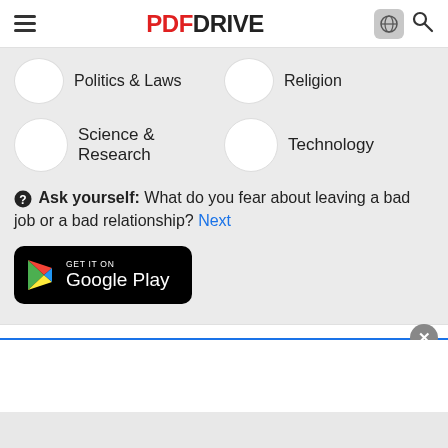PDF DRIVE
Politics & Laws
Religion
Science & Research
Technology
Ask yourself: What do you fear about leaving a bad job or a bad relationship? Next
[Figure (logo): Get it on Google Play button]
Company
Social
Help
About
Twitter
Contact us